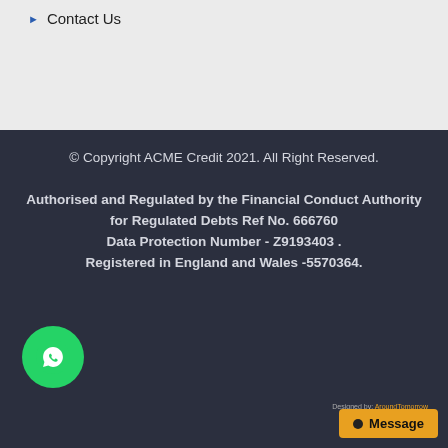Contact Us
© Copyright ACME Credit 2021. All Right Reserved.
Authorised and Regulated by the Financial Conduct Authority for Regulated Debts Ref No. 666760
Data Protection Number - Z9193403 .
Registered in England and Wales -5570364.
Designed by: AroundTomorrow
Message